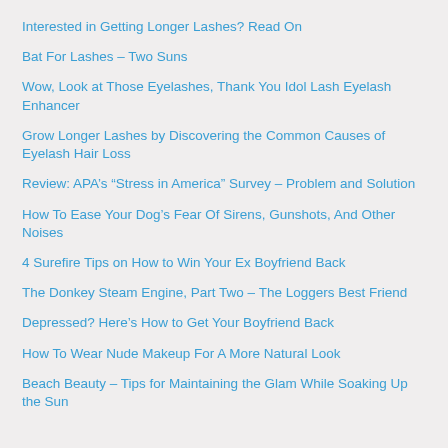Interested in Getting Longer Lashes? Read On
Bat For Lashes – Two Suns
Wow, Look at Those Eyelashes, Thank You Idol Lash Eyelash Enhancer
Grow Longer Lashes by Discovering the Common Causes of Eyelash Hair Loss
Review: APA's “Stress in America” Survey – Problem and Solution
How To Ease Your Dog’s Fear Of Sirens, Gunshots, And Other Noises
4 Surefire Tips on How to Win Your Ex Boyfriend Back
The Donkey Steam Engine, Part Two – The Loggers Best Friend
Depressed? Here’s How to Get Your Boyfriend Back
How To Wear Nude Makeup For A More Natural Look
Beach Beauty – Tips for Maintaining the Glam While Soaking Up the Sun